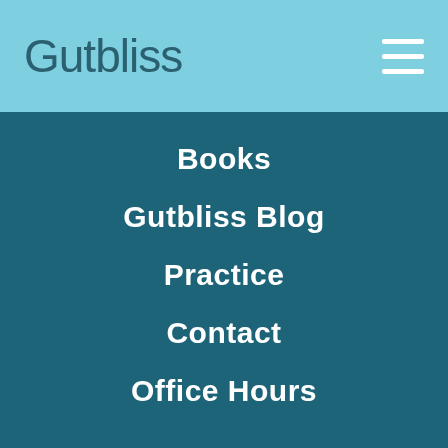Gutbliss
Books
Gutbliss Blog
Practice
Contact
Office Hours